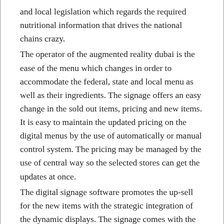and local legislation which regards the required nutritional information that drives the national chains crazy. The operator of the augmented reality dubai is the ease of the menu which changes in order to accommodate the federal, state and local menu as well as their ingredients. The signage offers an easy change in the sold out items, pricing and new items. It is easy to maintain the updated pricing on the digital menus by the use of automatically or manual control system. The pricing may be managed by the use of central way so the selected stores can get the updates at once. The digital signage software promotes the up-sell for the new items with the strategic integration of the dynamic displays. The signage comes with the graphics that are attention grabbing with many things that are fighting for the attention of the customer. It is going to be difficult for breaking through the message clutter. The digital menu board can display full high definition and bright